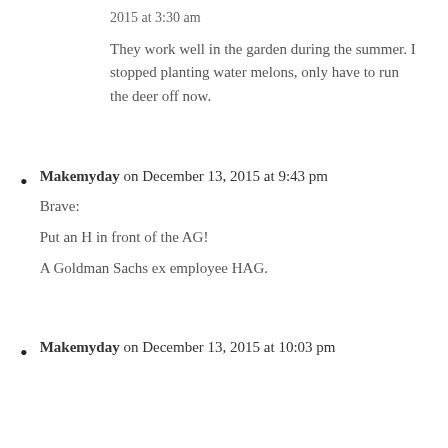2015 at 3:30 am
They work well in the garden during the summer. I stopped planting water melons, only have to run the deer off now.
Makemyday on December 13, 2015 at 9:43 pm

Brave:

Put an H in front of the AG!

A Goldman Sachs ex employee HAG.
Makemyday on December 13, 2015 at 10:03 pm